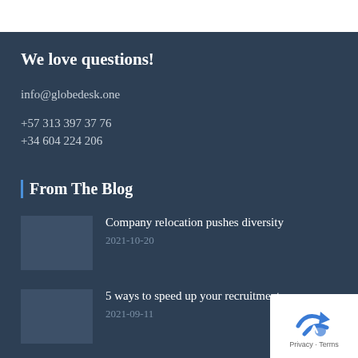We love questions!
info@globedesk.one
+57 313 397 37 76
+34 604 224 206
From The Blog
Company relocation pushes diversity
2021-10-20
5 ways to speed up your recruitment pr…
2021-09-11